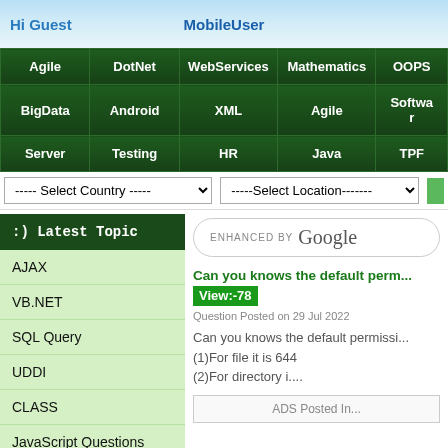Hi Guest | MobileUser
| Agile | DotNet | WebServices | Mathematics | OOPS |
| --- | --- | --- | --- | --- |
| BigData | Android | XML | Agile | Software |
| Server | Testing | HR | Java | TPF |
----- Select Country ----- | -----Select Location-------
:) Latest Topic
AJAX
VB.NET
SQL Query
UDDI
CLASS
JavaScript Questions
ENHANCED BY Google
Can you knows the default perm... View:-78
Question Posted on 29 Jul 2022
Can you knows the default permissi...
(1)For file it is 644
(2)For directory i....
ADS Posted In...